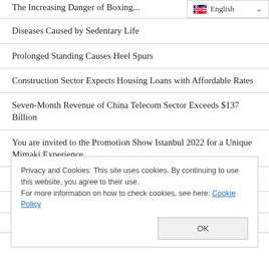The Increasing Danger of Boxing...
Diseases Caused by Sedentary Life
Prolonged Standing Causes Heel Spurs
Construction Sector Expects Housing Loans with Affordable Rates
Seven-Month Revenue of China Telecom Sector Exceeds $137 Billion
You are invited to the Promotion Show Istanbul 2022 for a Unique Mimaki Experience
Number of Dead in Pakistan Flood Raised to 1061
Yedikule Hisari Hosted the 'Drone Races Victory Cup'
Privacy and Cookies: This site uses cookies. By continuing to use this website, you agree to their use.
For more information on how to check cookies, see here: Cookie Policy
Obesity Treatment with Clinic Care Center